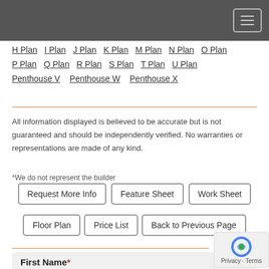Navigation header with menu button
H Plan  I Plan  J Plan  K Plan  M Plan  N Plan  O Plan  P Plan  Q Plan  R Plan  S Plan  T Plan  U Plan  Penthouse V  Penthouse W  Penthouse X
All information displayed is believed to be accurate but is not guaranteed and should be independently verified. No warranties or representations are made of any kind.
*We do not represent the builder
Request More Info  Feature Sheet  Work Sheet  Floor Plan  Price List  Back to Previous Page
First Name*